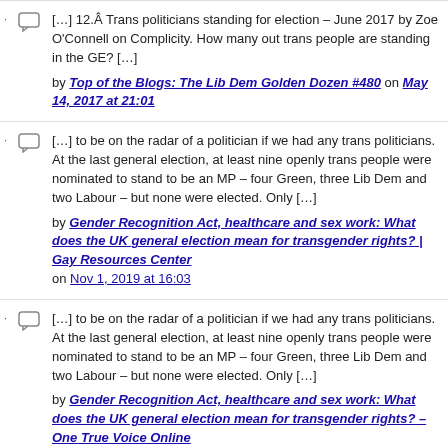[…] 12.Â Trans politicians standing for election – June 2017 by Zoe O'Connell on Complicity. How many out trans people are standing in the GE? […] by Top of the Blogs: The Lib Dem Golden Dozen #480 on May 14, 2017 at 21:01
[…] to be on the radar of a politician if we had any trans politicians. At the last general election, at least nine openly trans people were nominated to stand to be an MP – four Green, three Lib Dem and two Labour – but none were elected. Only […] by Gender Recognition Act, healthcare and sex work: What does the UK general election mean for transgender rights? | Gay Resources Center on Nov 1, 2019 at 16:03
[…] to be on the radar of a politician if we had any trans politicians. At the last general election, at least nine openly trans people were nominated to stand to be an MP – four Green, three Lib Dem and two Labour – but none were elected. Only […] by Gender Recognition Act, healthcare and sex work: What does the UK general election mean for transgender rights? – One True Voice Online on Nov 1, 2019 at 16:31
[…] first thing to note is that, compared to the nine candidates who stood in 2017, this is a shorter list. There are several obvious reasons for this – firstly, there may be […]